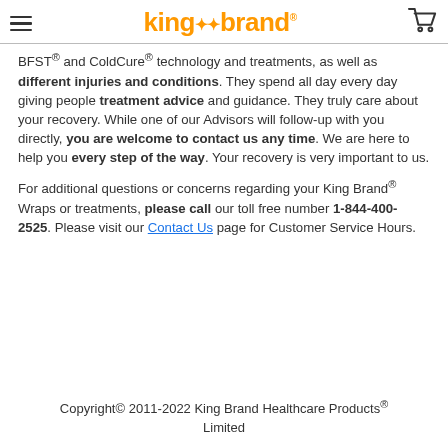King Brand logo, hamburger menu, cart icon
BFST® and ColdCure® technology and treatments, as well as different injuries and conditions. They spend all day every day giving people treatment advice and guidance. They truly care about your recovery. While one of our Advisors will follow-up with you directly, you are welcome to contact us any time. We are here to help you every step of the way. Your recovery is very important to us.
For additional questions or concerns regarding your King Brand® Wraps or treatments, please call our toll free number 1-844-400-2525. Please visit our Contact Us page for Customer Service Hours.
Copyright© 2011-2022 King Brand Healthcare Products® Limited